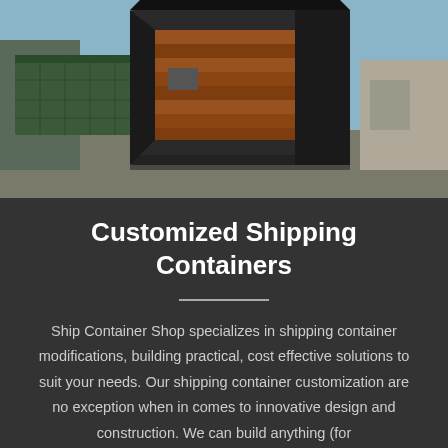[Figure (photo): Outdoor photograph of customized shipping containers. One container is open with wooden cladding panels visible on its side, dark steel frame structure, and another green container in the background. Industrial yard setting with blue sky.]
Customized Shipping Containers
Ship Container Shop specializes in shipping container modifications, building practical, cost effective solutions to suit your needs. Our shipping container customization are no exception when in comes to innovative design and construction. We can build anything (for